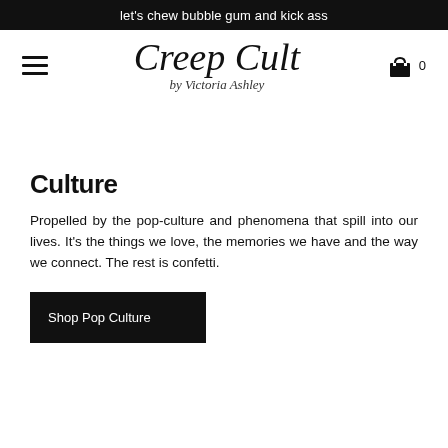let's chew bubble gum and kick ass
[Figure (logo): Creep Cult by Victoria Ashley script logo with hamburger menu icon on left and shopping cart icon with '0' on right]
Culture
Propelled by the pop-culture and phenomena that spill into our lives. It's the things we love, the memories we have and the way we connect. The rest is confetti.
Shop Pop Culture